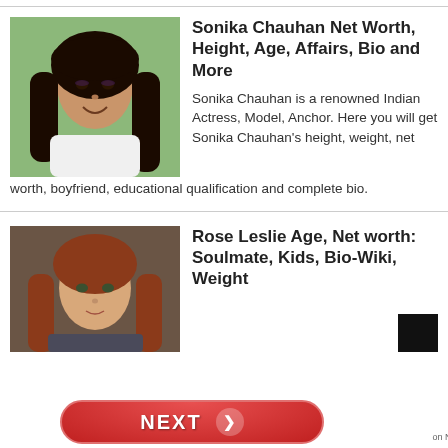[Figure (photo): Photo of Sonika Chauhan, a young Indian woman with long dark hair, smiling]
Sonika Chauhan Net Worth, Height, Age, Affairs, Bio and More
Sonika Chauhan is a renowned Indian Actress, Model, Anchor. Here you will get Sonika Chauhan's height, weight, net worth, boyfriend, educational qualification and complete bio.
[Figure (photo): Photo of Rose Leslie, a young woman with auburn/red hair]
Rose Leslie Age, Net worth: Soulmate, Kids, Bio-Wiki, Weight